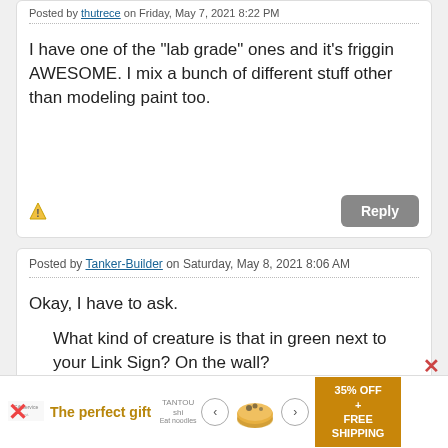I have one of the "lab grade" ones and it's friggin AWESOME. I mix a bunch of different stuff other than modeling paint too.
Posted by Tanker-Builder on Saturday, May 8, 2021 8:06 AM
Okay, I have to ask.

What kind of creature is that in green next to your Link Sign? On the wall?

Next, the Vortex mixer is a neat idea. I will have to look into that.There is a place here I can get stuff like that,
[Figure (infographic): Advertisement banner: 'The perfect gift' with 35% OFF + FREE SHIPPING offer, showing a bowl product with navigation arrows]